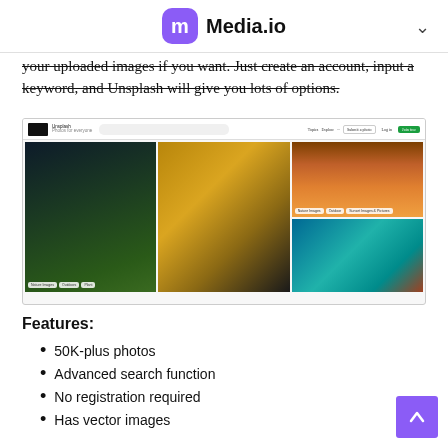Media.io
your uploaded images if you want. Just create an account, input a keyword, and Unsplash will give you lots of options.
[Figure (screenshot): Screenshot of the Unsplash website showing a search bar and photo grid with nature, sunset, abstract texture, ocean, and car images.]
Features:
50K-plus photos
Advanced search function
No registration required
Has vector images